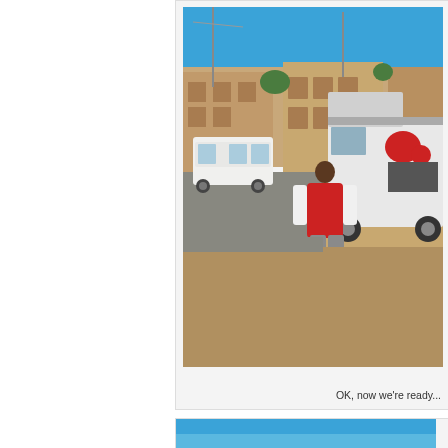[Figure (photo): A person wearing a red and white jacket and grey pants, seen from behind, walking toward the open rear hatch of a white Toyota SUV/Land Cruiser on a sandy street. In the background there is a white minivan and multi-story sand-colored buildings under a bright blue sky.]
OK, now we're ready...
[Figure (photo): Partially visible second photo at the bottom of the page, showing a blue sky scene.]